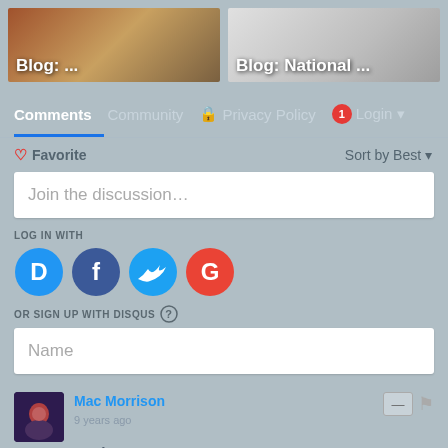[Figure (screenshot): Two blog card thumbnails at the top with labels 'Blog: ...' and 'Blog: National ...']
Comments  Community  Privacy Policy  1  Login
♡ Favorite    Sort by Best
Join the discussion…
LOG IN WITH
[Figure (infographic): Social login icons: Disqus (D), Facebook (f), Twitter bird, Google (G)]
OR SIGN UP WITH DISQUS ?
Name
Mac Morrison
9 years ago
you forgot ...